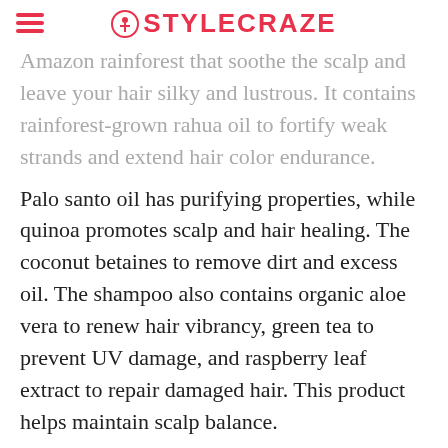STYLECRAZE
Amazon rainforest that soothe the scalp and leave your hair silky and lustrous. It contains rainforest-grown rahua oil to fortify weak strands and extend hair color endurance.
Palo santo oil has purifying properties, while quinoa promotes scalp and hair healing. The coconut betaines to remove dirt and excess oil. The shampoo also contains organic aloe vera to renew hair vibrancy, green tea to prevent UV damage, and raspberry leaf extract to repair damaged hair. This product helps maintain scalp balance.
How To Apply: Massage an adequate amount of the shampoo onto wet hair and rinse thoroughly.